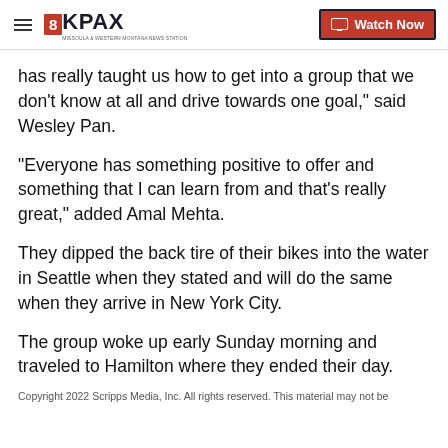8KPAX | Watch Now
has really taught us how to get into a group that we don't know at all and drive towards one goal," said Wesley Pan.
“Everyone has something positive to offer and something that I can learn from and that’s really great," added Amal Mehta.
They dipped the back tire of their bikes into the water in Seattle when they stated and will do the same when they arrive in New York City.
The group woke up early Sunday morning and traveled to Hamilton where they ended their day.
Copyright 2022 Scripps Media, Inc. All rights reserved. This material may not be published, broadcast, rewritten, or redistributed.